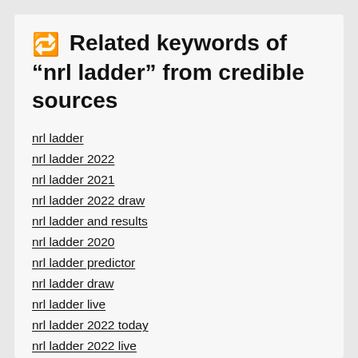🔁 Related keywords of "nrl ladder" from credible sources
nrl ladder
nrl ladder 2022
nrl ladder 2021
nrl ladder 2022 draw
nrl ladder and results
nrl ladder 2020
nrl ladder predictor
nrl ladder draw
nrl ladder live
nrl ladder 2022 today
nrl ladder 2022 live
nrl ladder 2022 predictions